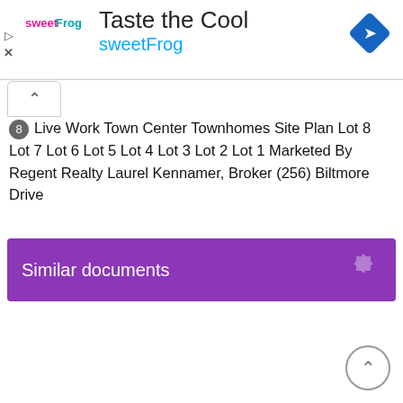[Figure (screenshot): Advertisement banner for sweetFrog — 'Taste the Cool' with sweetFrog logo and navigation icon]
8 Live Work Town Center Townhomes Site Plan Lot 8 Lot 7 Lot 6 Lot 5 Lot 4 Lot 3 Lot 2 Lot 1 Marketed By Regent Realty Laurel Kennamer, Broker (256) Biltmore Drive
Similar documents